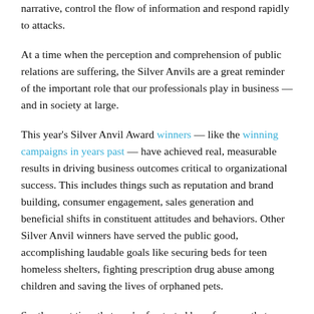narrative, control the flow of information and respond rapidly to attacks.
At a time when the perception and comprehension of public relations are suffering, the Silver Anvils are a great reminder of the important role that our professionals play in business — and in society at large.
This year's Silver Anvil Award winners — like the winning campaigns in years past — have achieved real, measurable results in driving business outcomes critical to organizational success. This includes things such as reputation and brand building, consumer engagement, sales generation and beneficial shifts in constituent attitudes and behaviors. Other Silver Anvil winners have served the public good, accomplishing laudable goals like securing beds for teen homeless shelters, fighting prescription drug abuse among children and saving the lives of orphaned pets.
So, the next time that you're frustrated by references that